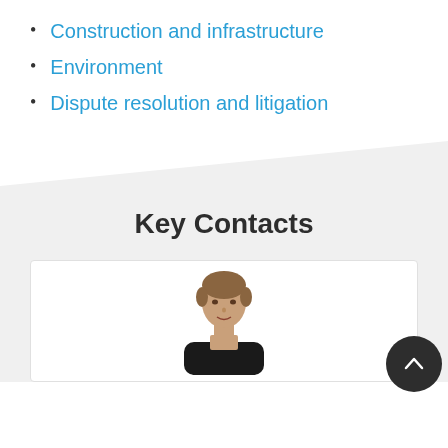Construction and infrastructure
Environment
Dispute resolution and litigation
Key Contacts
[Figure (photo): Professional headshot of a woman with short blonde/brown hair, wearing a dark jacket, against a white background inside a contact card]